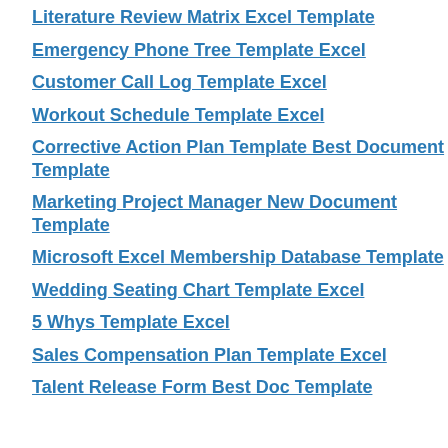Literature Review Matrix Excel Template
Emergency Phone Tree Template Excel
Customer Call Log Template Excel
Workout Schedule Template Excel
Corrective Action Plan Template Best Document Template
Marketing Project Manager New Document Template
Microsoft Excel Membership Database Template
Wedding Seating Chart Template Excel
5 Whys Template Excel
Sales Compensation Plan Template Excel
Talent Release Form Best Doc Template